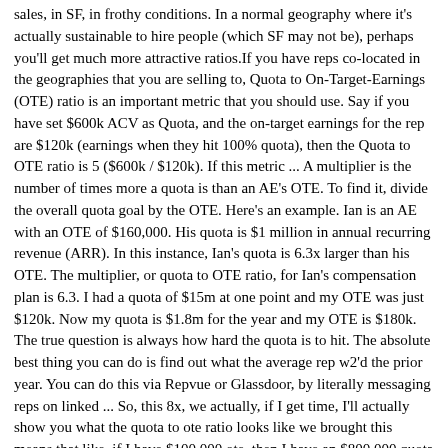sales, in SF, in frothy conditions. In a normal geography where it's actually sustainable to hire people (which SF may not be), perhaps you'll get much more attractive ratios.If you have reps co-located in the geographies that you are selling to, Quota to On-Target-Earnings (OTE) ratio is an important metric that you should use. Say if you have set $600k ACV as Quota, and the on-target earnings for the rep are $120k (earnings when they hit 100% quota), then the Quota to OTE ratio is 5 ($600k / $120k). If this metric ... A multiplier is the number of times more a quota is than an AE's OTE. To find it, divide the overall quota goal by the OTE. Here's an example. Ian is an AE with an OTE of $160,000. His quota is $1 million in annual recurring revenue (ARR). In this instance, Ian's quota is 6.3x larger than his OTE. The multiplier, or quota to OTE ratio, for Ian's compensation plan is 6.3. I had a quota of $15m at one point and my OTE was just $120k. Now my quota is $1.8m for the year and my OTE is $180k. The true question is always how hard the quota is to hit. The absolute best thing you can do is find out what the average rep w2'd the prior year. You can do this via Repvue or Glassdoor, by literally messaging reps on linked ... So, this 8x, we actually, if I get time, I'll actually show you what the quota to ote ratio looks like we brought this means that like, if I have $100,000 ote, then I have an $800,000 quota as an AE. So just like that was the 8x right there. So, you take that to the quota to ote multiplier for your reps 8x and multiply their on-target earnings ...Apr 19, 2022 · Setting OTEs